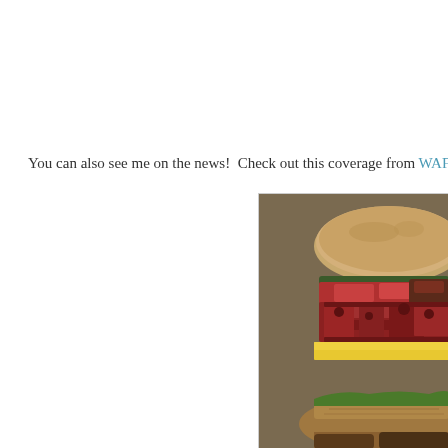You can also see me on the news!  Check out this coverage from WAFB ab...
[Figure (photo): Close-up photograph of a large hamburger with bacon, cheese, lettuce, and a whole grain bun, partially cut off on the right side of the image.]